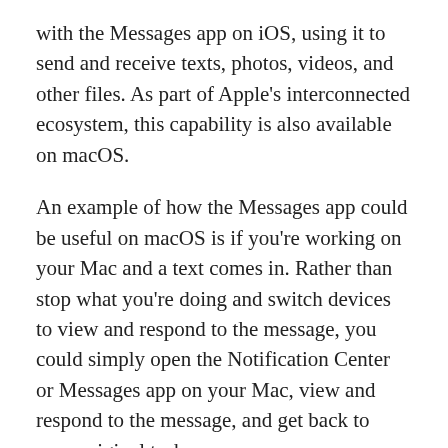with the Messages app on iOS, using it to send and receive texts, photos, videos, and other files. As part of Apple's interconnected ecosystem, this capability is also available on macOS.
An example of how the Messages app could be useful on macOS is if you're working on your Mac and a text comes in. Rather than stop what you're doing and switch devices to view and respond to the message, you could simply open the Notification Center or Messages app on your Mac, view and respond to the message, and get back to your original task.
While certain aspects of the Messages app's interface may initially seem confusing, there are a number of tricks, which I will cover in this guide, which you can use to maximize your efficiency with it. In fact, being